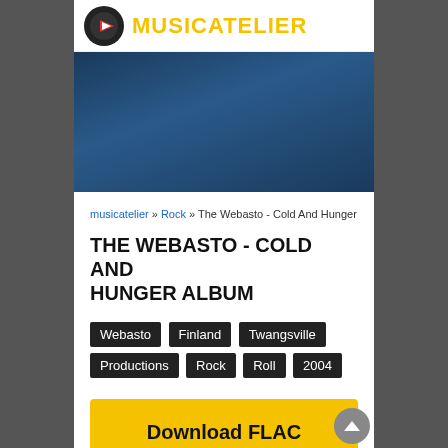MUSICATELIER
[Figure (illustration): Dark blue gradient banner/advertisement area]
musicatelier » Rock » The Webasto - Cold And Hunger
THE WEBASTO - COLD AND HUNGER ALBUM
Webasto
Finland
Twangsville
Productions
Rock
Roll
2004
Download FLAC